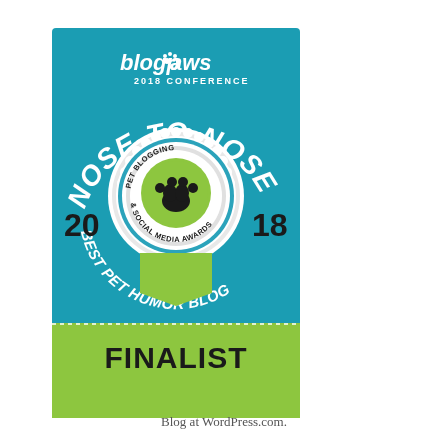[Figure (logo): BlogPaws 2018 Conference Nose-to-Nose Pet Blogging & Social Media Awards Best Pet Humor Blog Finalist badge. Teal/blue background with white text reading 'blogpaws 2018 CONFERENCE' at top, large curved text 'NOSE-TO-NOSE' in white, numbers '20' and '18' on sides, a circular ribbon/medal in center with paw print and text 'PET BLOGGING & SOCIAL MEDIA AWARDS', curved text 'BEST PET HUMOR BLOG' below the circle, a green ribbon banner pointing down, and a green bottom banner with bold black text 'FINALIST'.]
Blog at WordPress.com.